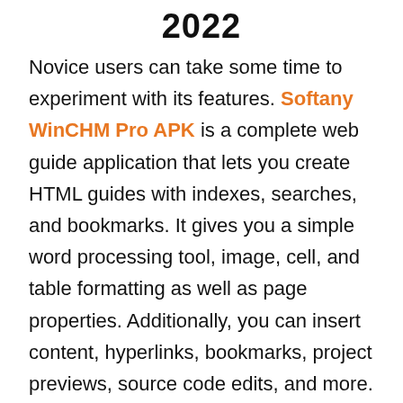2022
Novice users can take some time to experiment with its features. Softany WinCHM Pro APK is a complete web guide application that lets you create HTML guides with indexes, searches, and bookmarks. It gives you a simple word processing tool, image, cell, and table formatting as well as page properties. Additionally, you can insert content, hyperlinks, bookmarks, project previews, source code edits, and more. WinCHM Pro has a lightweight, easy-to-use, and intuitive interface that lets you easily create professional and beautiful-looking manuals in a few simple steps. You can create a project from scratch by importing or modifying existing HTML files. Also, you can change